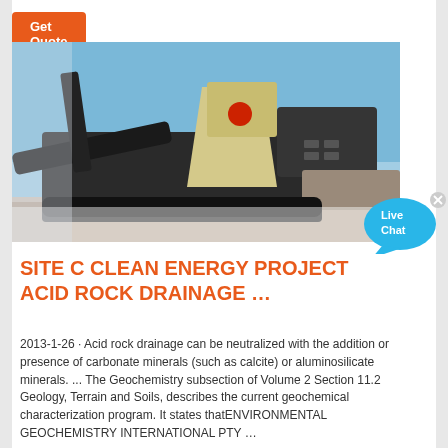[Figure (other): Orange 'Get Quote' button in the upper left area]
[Figure (photo): Large mobile rock crushing / mining machine photographed outdoors against a blue sky. The machine is black and yellow/cream colored, mounted on tracks, with conveyor arms extended.]
[Figure (other): Live Chat bubble icon in cyan/blue color with 'Live Chat' text and an X close button]
SITE C CLEAN ENERGY PROJECT ACID ROCK DRAINAGE …
2013-1-26 · Acid rock drainage can be neutralized with the addition or presence of carbonate minerals (such as calcite) or aluminosilicate minerals. ... The Geochemistry subsection of Volume 2 Section 11.2 Geology, Terrain and Soils, describes the current geochemical characterization program. It states thatENVIRONMENTAL GEOCHEMISTRY INTERNATIONAL PTY …